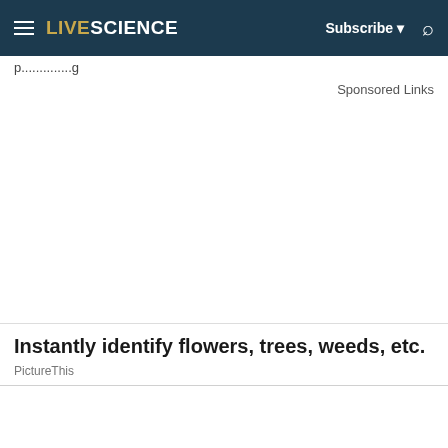LIVESCIENCE | Subscribe | Search
Sponsored Links
Instantly identify flowers, trees, weeds, etc.
PictureThis